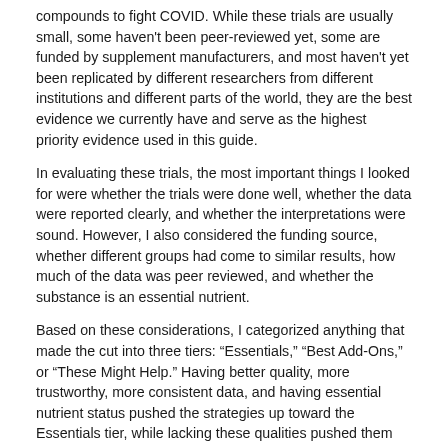compounds to fight COVID. While these trials are usually small, some haven't been peer-reviewed yet, some are funded by supplement manufacturers, and most haven't yet been replicated by different researchers from different institutions and different parts of the world, they are the best evidence we currently have and serve as the highest priority evidence used in this guide.
In evaluating these trials, the most important things I looked for were whether the trials were done well, whether the data were reported clearly, and whether the interpretations were sound. However, I also considered the funding source, whether different groups had come to similar results, how much of the data was peer reviewed, and whether the substance is an essential nutrient.
Based on these considerations, I categorized anything that made the cut into three tiers: “Essentials,” “Best Add-Ons,” or “These Might Help.” Having better quality, more trustworthy, more consistent data, and having essential nutrient status pushed the strategies up toward the Essentials tier, while lacking these qualities pushed them down toward the “These Might Help” tier. Those with intermediate support are included as Best Add-Ons.
The guide includes suggestions on how to tailor the protocol to your individual needs, your personal risk, your environmental risk, and your own risk tolerance. It also includes full instructions on how to implement the strategies.
When you buy it, you will get free updates the research continues to emerge. The guide is currently in version 7 and was last updated on September 25, 2021.